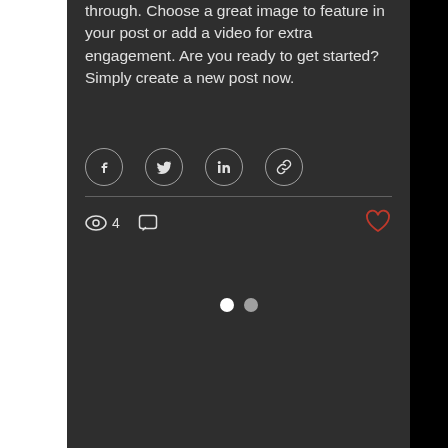through. Choose a great image to feature in your post or add a video for extra engagement. Are you ready to get started? Simply create a new post now.
[Figure (infographic): Social share buttons: Facebook, Twitter, LinkedIn, and link/chain icon — each in a circular outline button]
[Figure (infographic): Post stats bar showing: eye/views icon with count 4, comment bubble icon, and a red heart/like button on the right]
[Figure (infographic): Pagination indicator: two dots, one white (active) and one lighter (inactive)]